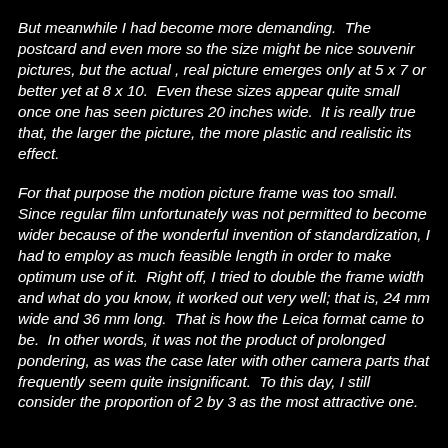But meanwhile I had become more demanding.  The postcard and even more so the size might be nice souvenir pictures, but the actual , real picture emerges only at 5 x 7 or better yet at 8 x 10.  Even these sizes appear quite small once one has seen pictures 20 inches wide.  It is really true that, the larger the picture, the more plastic and realistic its effect.
For that purpose the motion picture frame was too small.  Since regular film unfortunately was not permitted to become wider because of the wonderful invention of standardization, I had to employ as much feasible length in order to make optimum use of it.  Right off, I tried to double the frame width and what do you know, it worked out very well; that is, 24 mm wide and 36 mm long.  That is how the Leica format came to be.  In other words, it was not the product of prolonged pondering, as was the case later with other camera parts that frequently seem quite insignificant.  To this day, I still consider the proportion of 2 by 3 as the most attractive one.